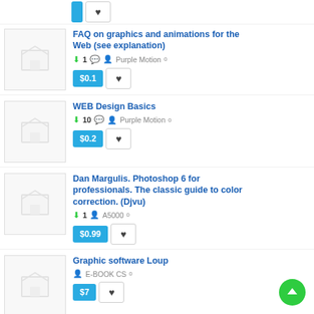FAQ on graphics and animations for the Web (see explanation) — $0.1 — Purple Motion — downloads: 1
WEB Design Basics — $0.2 — Purple Motion — downloads: 10
Dan Margulis. Photoshop 6 for professionals. The classic guide to color correction. (Djvu) — $0.99 — A5000 — downloads: 1
Graphic software Loup — $7 — E-BOOK CS — downloads: unknown